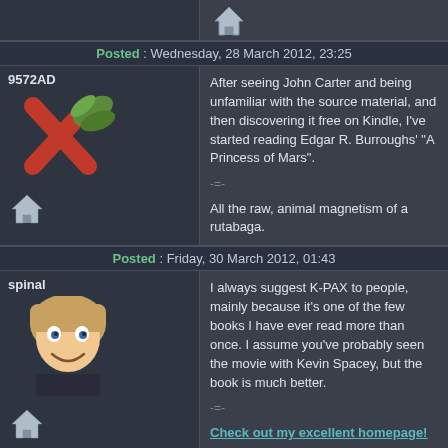Posted : Wednesday, 28 March 2012, 23:25
After seeing John Carter and being unfamiliar with the source material, and then discovering it free on Kindle, I've started reading Edgar R. Burroughs' "A Princess of Mars".

-=-

All the raw, animal magnetism of a rutabaga.
Posted : Friday, 30 March 2012, 01:43
I always suggest K-PAX to people, mainly because it's one of the few books I have ever read more than once. I assume you've probably seen the movie with Kevin Spacey, but the book is much better.

-=-

Check out my excellent homepage!
Posted : Friday, 30 March 2012, 04:52
Re-read Clive Barker's Books Of Blood (1-6) again recently. Great if you like horror.